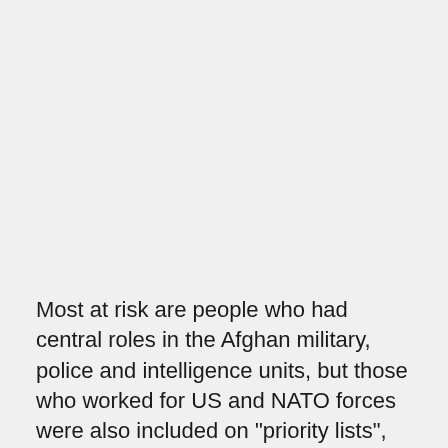Most at risk are people who had central roles in the Afghan military, police and intelligence units, but those who worked for US and NATO forces were also included on "priority lists", the report said.
Militants are also screening individuals on the way to Kabul airport and have set up checkpoints in major cities, including the capital and Jalalabad, the